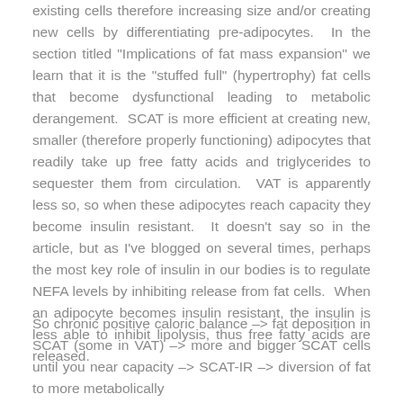existing cells therefore increasing size and/or creating new cells by differentiating pre-adipocytes. In the section titled "Implications of fat mass expansion" we learn that it is the "stuffed full" (hypertrophy) fat cells that become dysfunctional leading to metabolic derangement. SCAT is more efficient at creating new, smaller (therefore properly functioning) adipocytes that readily take up free fatty acids and triglycerides to sequester them from circulation. VAT is apparently less so, so when these adipocytes reach capacity they become insulin resistant. It doesn't say so in the article, but as I've blogged on several times, perhaps the most key role of insulin in our bodies is to regulate NEFA levels by inhibiting release from fat cells. When an adipocyte becomes insulin resistant, the insulin is less able to inhibit lipolysis, thus free fatty acids are released.
So chronic positive caloric balance –> fat deposition in SCAT (some in VAT) –> more and bigger SCAT cells until you near capacity –> SCAT-IR –> diversion of fat to more metabolically